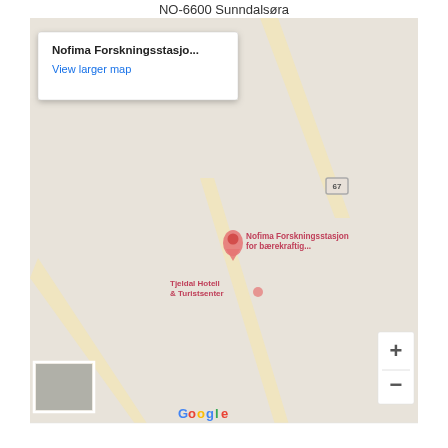NO-6600 Sunndalsøra
[Figure (map): Google Maps embedded map showing the location of Nofima Forskningsstasjon for bærekraftig, near Sunndalsøra, Norway. The map shows a light beige road map with roads, a location pin marker for the research station, a place label for Tjeldal Hotell & Turistsenter, a road number badge (67), zoom controls (+/-), a street view thumbnail, and the Google branding with footer text: Keyboard shortcuts, Map data ©2022, Terms of Use.]